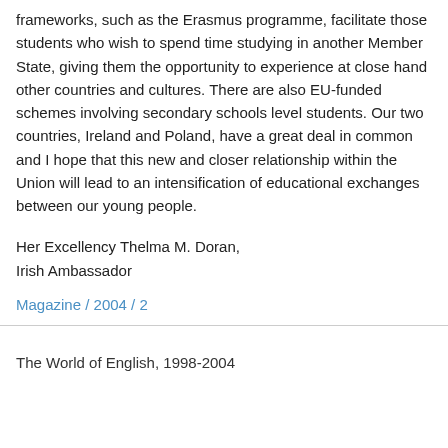frameworks, such as the Erasmus programme, facilitate those students who wish to spend time studying in another Member State, giving them the opportunity to experience at close hand other countries and cultures. There are also EU-funded schemes involving secondary schools level students. Our two countries, Ireland and Poland, have a great deal in common and I hope that this new and closer relationship within the Union will lead to an intensification of educational exchanges between our young people.
Her Excellency Thelma M. Doran,
Irish Ambassador
Magazine / 2004 / 2
The World of English, 1998-2004